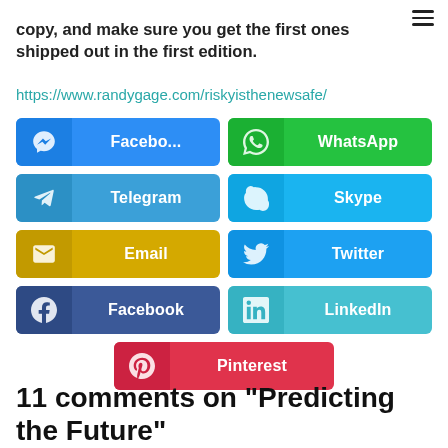copy, and make sure you get the first ones shipped out in the first edition.
https://www.randygage.com/riskyisthenewsafe/
[Figure (infographic): Social share buttons: Facebook Messenger, WhatsApp, Telegram, Skype, Email, Twitter, Facebook, LinkedIn, Pinterest]
11 comments on “Predicting the Future”